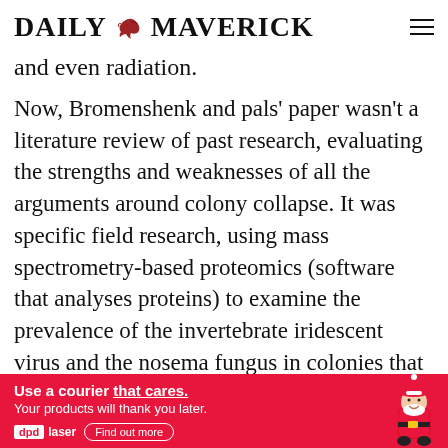DAILY MAVERICK
and even radiation.
Now, Bromenshenk and pals’ paper wasn’t a literature review of past research, evaluating the strengths and weaknesses of all the arguments around colony collapse. It was specific field research, using mass spectrometry-based proteomics (software that analyses proteins) to examine the prevalence of the invertebrate iridescent virus and the nosema fungus in colonies that had died. The study found that bees from failing colonies were significantly more likely to be infected with both the virus and the fungus, and that the combination was more lethal than either
[Figure (infographic): DPD Laser advertisement banner on red background: 'Use a courier that cares. Your products will thank you later.' with DPD Laser logo, Find out more button, and Santa Claus illustration]